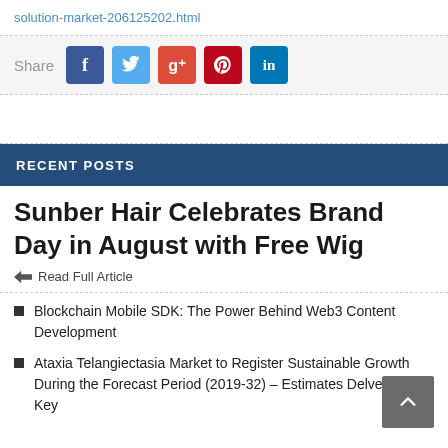solution-market-206125202.html
[Figure (infographic): Social share bar with Share label and buttons for Facebook, Twitter, Google+, Pinterest, LinkedIn]
RECENT POSTS
Sunber Hair Celebrates Brand Day in August with Free Wig
Read Full Article
Blockchain Mobile SDK: The Power Behind Web3 Content Development
Ataxia Telangiectasia Market to Register Sustainable Growth During the Forecast Period (2019-32) – EstimatesDelveInsight | Key